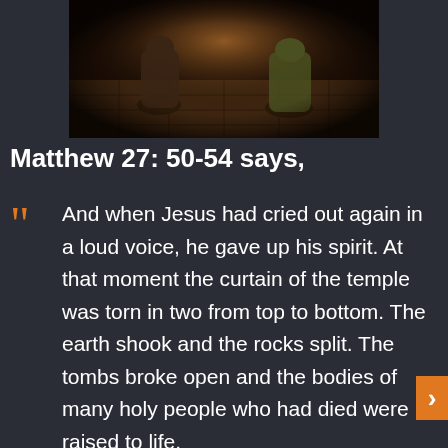[Figure (photo): Two figures kneeling on stone floor in dramatic lighting, seen from behind]
Matthew 27: 50-54 says,
And when Jesus had cried out again in a loud voice, he gave up his spirit. At that moment the curtain of the temple was torn in two from top to bottom. The earth shook and the rocks split. The tombs broke open and the bodies of many holy people who had died were raised to life.